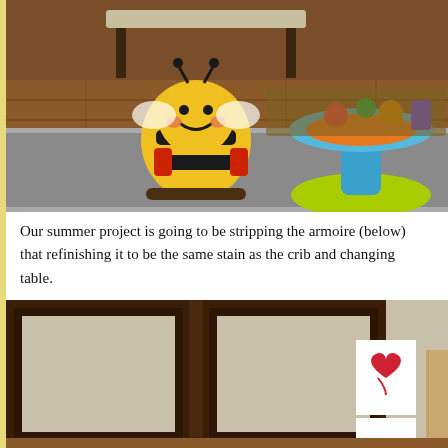[Figure (photo): Photo of a children's playroom showing a yellow bee stuffed animal rocking toy on a gray carpet, and a colorful baby activity table (blue, green, orange) on the right. Hardwood floors and furniture visible in background.]
Our summer project is going to be stripping the armoire (below) that refinishing it to be the same stain as the crib and changing table.
[Figure (photo): Photo of a dark brown wooden armoire with doors open, showing beige interior walls. A paper with a hand-drawn red heart is propped against the right side. A piece of light wood furniture is visible at far right edge.]